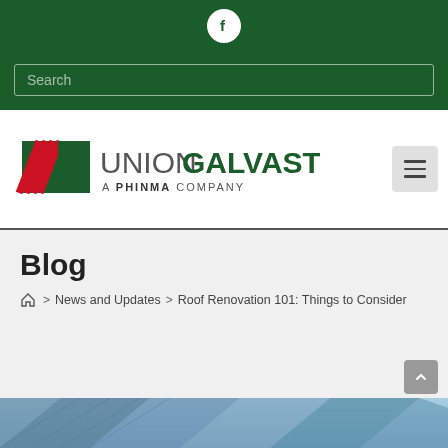[Figure (screenshot): Green header bar with Facebook circle icon and search box]
[Figure (logo): Union Galvasteel A Phinma Company logo]
Blog
Home > News and Updates > Roof Renovation 101: Things to Consider
[Figure (photo): Partial view of metal roofing sheets at the bottom of the page]